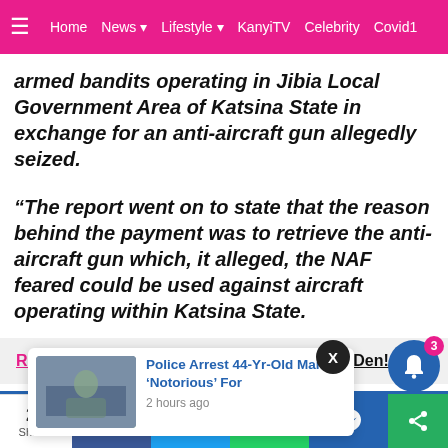Home  News  Lifestyle  KanyiTV  Celebrity  Covid1
armed bandits operating in Jibia Local Government Area of Katsina State in exchange for an anti-aircraft gun allegedly seized.
“The report went on to state that the reason behind the payment was to retrieve the anti-aircraft gun which, it alleged, the NAF feared could be used against aircraft operating within Katsina State.
READ:  Police Rescue Man From Abductors Den!
[Figure (screenshot): Popup card showing article preview: Police Arrest 44-Yr-Old Man 'Notorious' For, 2 hours ago]
that there i
24 Shares  [Facebook] [Twitter] [WhatsApp] [Messenger]